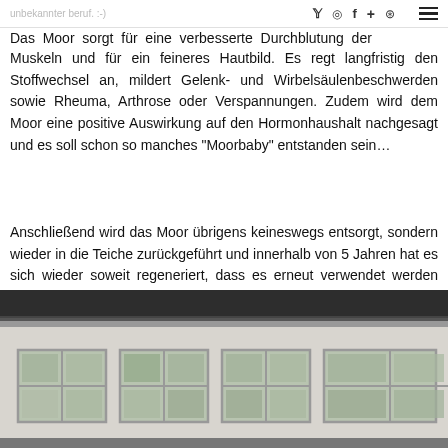unbekannter beruf. :-)
Social icons: twitter, instagram, facebook, plus, pinterest | hamburger menu
Das Moor sorgt für eine verbesserte Durchblutung der Muskeln und für ein feineres Hautbild. Es regt langfristig den Stoffwechsel an, mildert Gelenk- und Wirbelsäulenbeschwerden sowie Rheuma, Arthrose oder Verspannungen. Zudem wird dem Moor eine positive Auswirkung auf den Hormonhaushalt nachgesagt und es soll schon so manches "Moorbaby" entstanden sein…
Anschließend wird das Moor übrigens keineswegs entsorgt, sondern wieder in die Teiche zurückgeführt und innerhalb von 5 Jahren hat es sich wieder soweit regeneriert, dass es erneut verwendet werden kann.
[Figure (photo): Exterior of a building showing a dark roofline and four windows with white frames on a light-colored wall.]